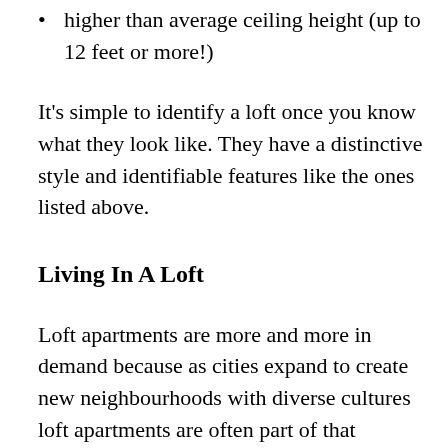higher than average ceiling height (up to 12 feet or more!)
It's simple to identify a loft once you know what they look like. They have a distinctive style and identifiable features like the ones listed above.
Living In A Loft
Loft apartments are more and more in demand because as cities expand to create new neighbourhoods with diverse cultures loft apartments are often part of that evolution as small employment lands get converted into more applicable residential uses.